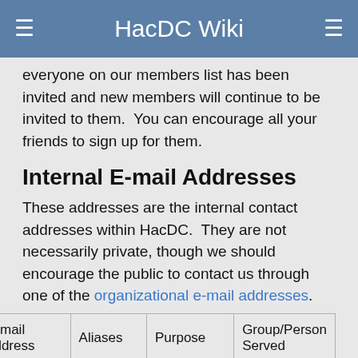HacDC Wiki
everyone on our members list has been invited and new members will continue to be invited to them.  You can encourage all your friends to sign up for them.
Internal E-mail Addresses
These addresses are the internal contact addresses within HacDC.  They are not necessarily private, though we should encourage the public to contact us through one of the organizational e-mail addresses.
| E-mail address | Aliases | Purpose | Group/Person Served |
| --- | --- | --- | --- |
|  |  | List for people who are not members but are |  |